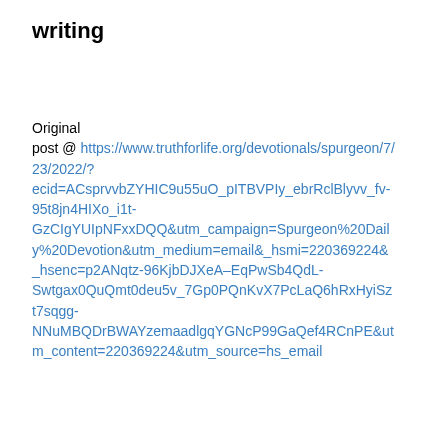writing
Original post @ https://www.truthforlife.org/devotionals/spurgeon/7/23/2022/?ecid=ACsprvvbZYHIC9u55uO_pITBVPIy_ebrRclBlyvv_fv-95t8jn4HIXo_i1t-GzCIgYUIpNFxxDQQ&utm_campaign=Spurgeon%20Daily%20Devotion&utm_medium=email&_hsmi=220369224&_hsenc=p2ANqtz-96KjbDJXeA–EqPwSb4QdL-Swtgax0QuQmt0deu5v_7Gp0PQnKvX7PcLaQ6hRxHyiSzt7sqgg-NNuMBQDrBWAYzemaadlgqYGNcP99GaQef4RCnPE&utm_content=220369224&utm_source=hs_email